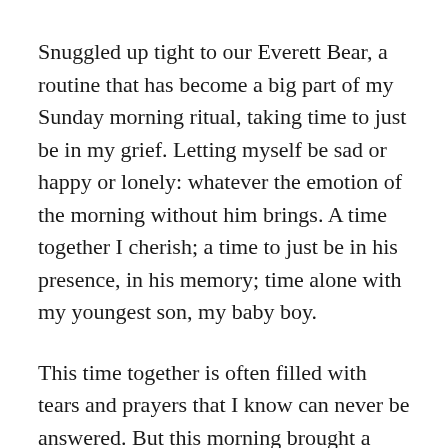Snuggled up tight to our Everett Bear, a routine that has become a big part of my Sunday morning ritual, taking time to just be in my grief. Letting myself be sad or happy or lonely: whatever the emotion of the morning without him brings. A time together I cherish; a time to just be in his presence, in his memory; time alone with my youngest son, my baby boy.
This time together is often filled with tears and prayers that I know can never be answered. But this morning brought a new light, a new hope, an almost unwelcomed